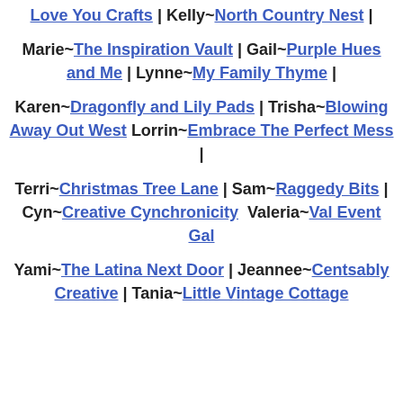Love You Crafts | Kelly~North Country Nest |
Marie~The Inspiration Vault | Gail~Purple Hues and Me | Lynne~My Family Thyme |
Karen~Dragonfly and Lily Pads | Trisha~Blowing Away Out West Lorrin~Embrace The Perfect Mess |
Terri~Christmas Tree Lane | Sam~Raggedy Bits | Cyn~Creative Cynchronicity  Valeria~Val Event Gal
Yami~The Latina Next Door | Jeannee~Centsably Creative | Tania~Little Vintage Cottage